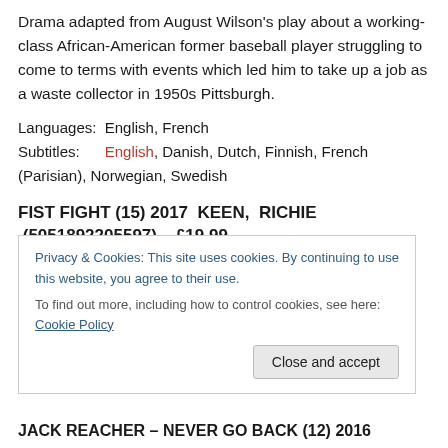Drama adapted from August Wilson's play about a working-class African-American former baseball player struggling to come to terms with events which led him to take up a job as a waste collector in 1950s Pittsburgh.
Languages:  English, French
Subtitles:      English, Danish, Dutch, Finnish, French (Parisian), Norwegian, Swedish
FIST FIGHT (15) 2017  KEEN,  RICHIE  (5051892205597)    £19.99
Ice Cube and Charlie Day star as brawling teachers in
Privacy & Cookies: This site uses cookies. By continuing to use this website, you agree to their use.
To find out more, including how to control cookies, see here: Cookie Policy
JACK REACHER – NEVER GO BACK (12) 2016